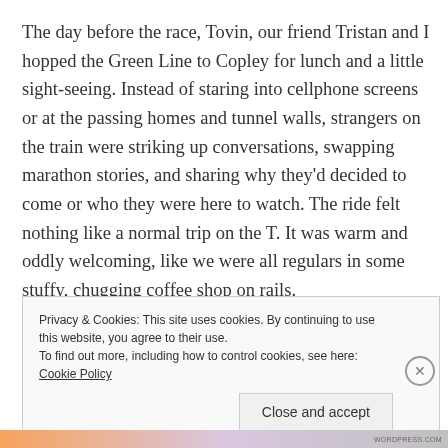The day before the race, Tovin, our friend Tristan and I hopped the Green Line to Copley for lunch and a little sight-seeing. Instead of staring into cellphone screens or at the passing homes and tunnel walls, strangers on the train were striking up conversations, swapping marathon stories, and sharing why they'd decided to come or who they were here to watch. The ride felt nothing like a normal trip on the T. It was warm and oddly welcoming, like we were all regulars in some stuffy, chugging coffee shop on rails.
Privacy & Cookies: This site uses cookies. By continuing to use this website, you agree to their use.
To find out more, including how to control cookies, see here: Cookie Policy

Close and accept